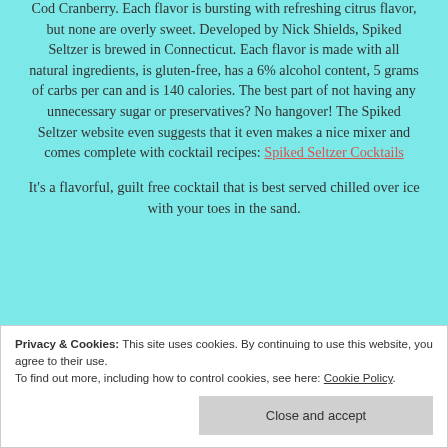Cod Cranberry. Each flavor is bursting with refreshing citrus flavor, but none are overly sweet. Developed by Nick Shields, Spiked Seltzer is brewed in Connecticut. Each flavor is made with all natural ingredients, is gluten-free, has a 6% alcohol content, 5 grams of carbs per can and is 140 calories. The best part of not having any unnecessary sugar or preservatives? No hangover! The Spiked Seltzer website even suggests that it even makes a nice mixer and comes complete with cocktail recipes: Spiked Seltzer Cocktails
It's a flavorful, guilt free cocktail that is best served chilled over ice with your toes in the sand.
Privacy & Cookies: This site uses cookies. By continuing to use this website, you agree to their use. To find out more, including how to control cookies, see here: Cookie Policy